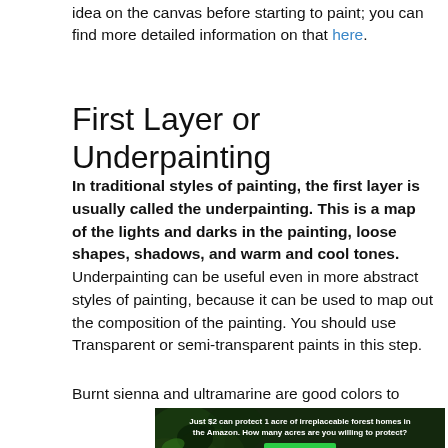idea on the canvas before starting to paint; you can find more detailed information on that here.
First Layer or Underpainting
In traditional styles of painting, the first layer is usually called the underpainting. This is a map of the lights and darks in the painting, loose shapes, shadows, and warm and cool tones. Underpainting can be useful even in more abstract styles of painting, because it can be used to map out the composition of the painting. You should use Transparent or semi-transparent paints in this step.
Burnt sienna and ultramarine are good colors to
[Figure (photo): Advertisement banner showing a forest background with text: 'Just $2 can protect 1 acre of irreplaceable forest homes in the Amazon. How many acres are you willing to protect?' with a green button saying 'PROTECT FORESTS NOW']